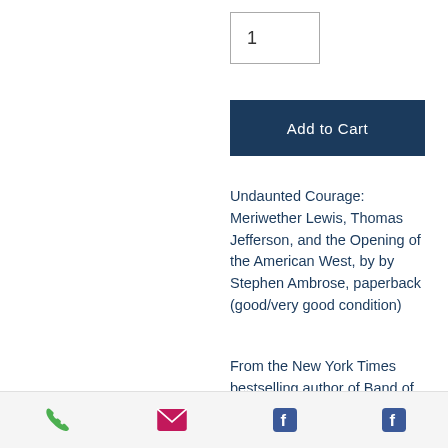1
Add to Cart
Undaunted Courage: Meriwether Lewis, Thomas Jefferson, and the Opening of the American West, by by Stephen Ambrose, paperback (good/very good condition)
From the New York Times bestselling author of Band of Brothers and D-Day, the definitive
[Figure (infographic): Bottom navigation bar with phone (green), email (pink/red), and two Facebook (blue) icons]